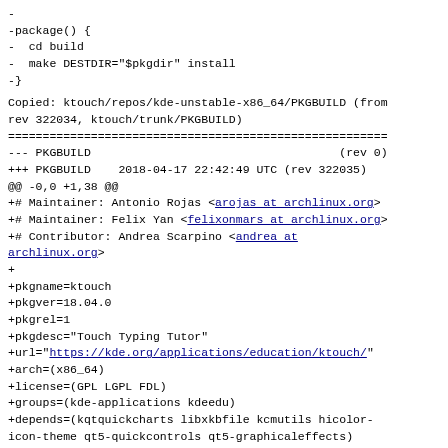-
-package() {
-  cd build
-  make DESTDIR="$pkgdir" install
-}
Copied: ktouch/repos/kde-unstable-x86_64/PKGBUILD (from rev 322034, ktouch/trunk/PKGBUILD)
=================================================================
--- PKGBUILD                                    (rev 0)
+++ PKGBUILD    2018-04-17 22:42:49 UTC (rev 322035)
@@ -0,0 +1,38 @@
+# Maintainer: Antonio Rojas <arojas at archlinux.org>
+# Maintainer: Felix Yan <felixonmars at archlinux.org>
+# Contributor: Andrea Scarpino <andrea at archlinux.org>
+
+pkgname=ktouch
+pkgver=18.04.0
+pkgrel=1
+pkgdesc="Touch Typing Tutor"
+url="https://kde.org/applications/education/ktouch/"
+arch=(x86_64)
+license=(GPL LGPL FDL)
+groups=(kde-applications kdeedu)
+depends=(kqtquickcharts libxkbfile kcmutils hicolor-icon-theme qt5-quickcontrols qt5-graphicaleffects)
+makedepends=(extra-cmake-modules kdoctools)
+conflicts=(kdeedu-ktouch)
+replaces=(kdeedu-ktouch)